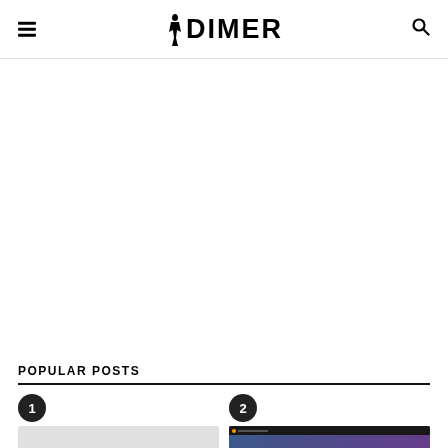DIMER — website header with hamburger menu, logo, and search icon
[Figure (other): Large blank advertisement/content area below the header]
POPULAR POSTS
[Figure (other): Popular post item 1 — numbered badge showing 1, below is a blank thumbnail area]
[Figure (screenshot): Popular post item 2 — numbered badge showing 2, below is a sports scoreboard screenshot thumbnail]